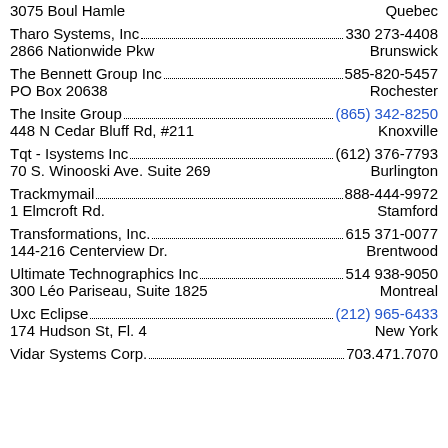3075 Boul Hamle ... Quebec
Tharo Systems, Inc. 330 273-4408 / 2866 Nationwide Pkw / Brunswick
The Bennett Group Inc 585-820-5457 / PO Box 20638 / Rochester
The Insite Group (865) 342-8250 / 448 N Cedar Bluff Rd, #211 / Knoxville
Tqt - Isystems Inc (612) 376-7793 / 70 S. Winooski Ave. Suite 269 / Burlington
Trackmymail 888-444-9972 / 1 Elmcroft Rd. / Stamford
Transformations, Inc. 615 371-0077 / 144-216 Centerview Dr. / Brentwood
Ultimate Technographics Inc 514 938-9050 / 300 Léo Pariseau, Suite 1825 / Montreal
Uxc Eclipse (212) 965-6433 / 174 Hudson St, Fl. 4 / New York
Vidar Systems Corp. 703.471.7070